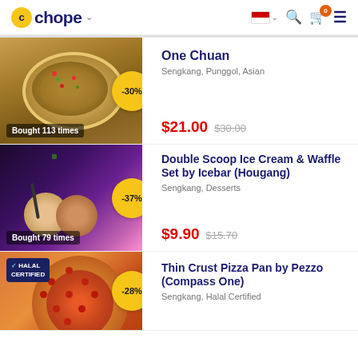Chope — food deals app header with logo, country selector (Indonesia), search, cart (0), menu
[Figure (photo): One Chuan dish — Asian soup with minced meat, chili peppers, green onions, peanuts in a white bowl. Badge: -30%. Bought 113 times.]
One Chuan
Sengkang, Punggol, Asian
$21.00  $30.00
[Figure (photo): Double Scoop Ice Cream & Waffle Set by Icebar (Hougang) — ice cream scoops with waffle, bokeh background. Badge: -37%. Bought 79 times.]
Double Scoop Ice Cream & Waffle Set by Icebar (Hougang)
Sengkang, Desserts
$9.90  $15.70
[Figure (photo): Thin Crust Pizza Pan by Pezzo (Compass One) — pepperoni pizza. Halal Certified badge. Discount badge: -28%.]
Thin Crust Pizza Pan by Pezzo (Compass One)
Sengkang, Halal Certified